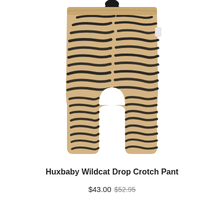[Figure (photo): Tiger-stripe print baby drop crotch pants in beige/tan with black stripes, featuring a drawstring waist, shown flat against a white background.]
Huxbaby Wildcat Drop Crotch Pant
$43.00 $52.95